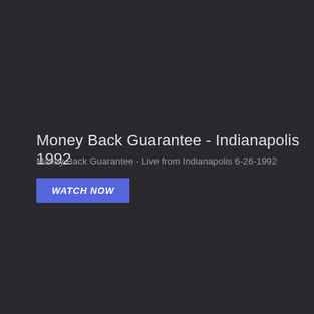Money Back Guarantee - Indianapolis 1992
Money Back Guarantee - Live from Indianapolis 6-26-1992
WATCH NOW
[Figure (other): Broken/missing thumbnail image placeholder (small icon, approximately 22x20px)]